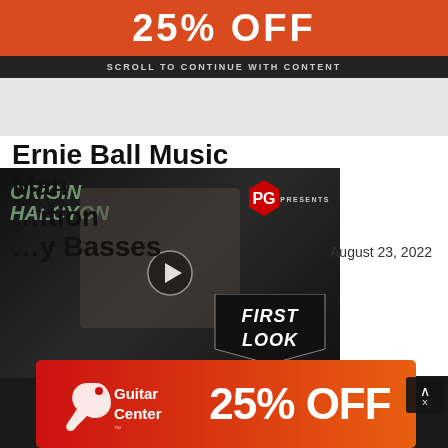[Figure (screenshot): Orange/red banner ad at top showing '25% OFF' text in large white bold letters on orange background]
SCROLL TO CONTINUE WITH CONTENT
[Figure (screenshot): Video thumbnail showing a man holding a guitar pedal, with Origin Halcyon text on left, PG Presents logo top right, First Look badge bottom right]
Ernie Ball Music Man …ition …y Basses
August 23, 2022
[Figure (logo): Guitar Center 25% OFF advertisement banner at bottom with red-orange gradient background, Guitar Center logo on left and '25% OFF' text on right]